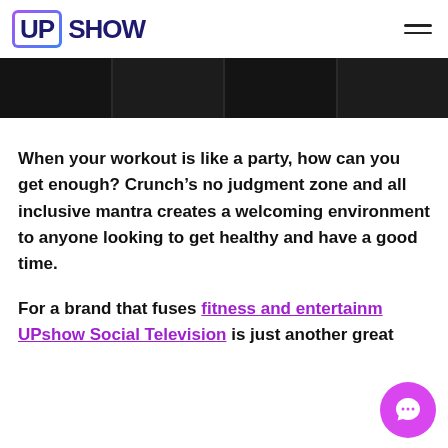UP SHOW
[Figure (illustration): Dark horizontal banner with multiple dark image segments separated by thin borders, resembling a filmstrip or photo collage navigation bar.]
When your workout is like a party, how can you get enough? Crunch’s no judgment zone and all inclusive mantra creates a welcoming environment to anyone looking to get healthy and have a good time.
For a brand that fuses fitness and entertainment, UPshow Social Television is just another great